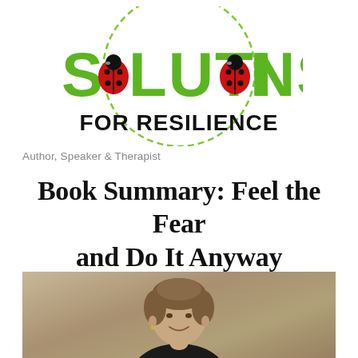[Figure (logo): Solutions for Resilience logo with green bubble letters spelling SOLUTIONS (with ladybug replacing O letters), text FOR RESILIENCE in bold black below, surrounded by dashed green circle]
Author, Speaker & Therapist
Book Summary: Feel the Fear and Do It Anyway
[Figure (photo): Photo of an older woman with short brown hair, smiling, wearing a black top, against a tan/beige background]